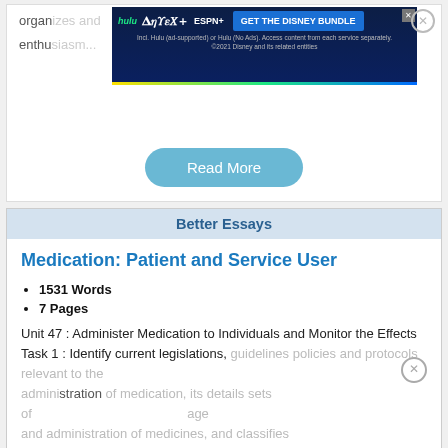organ... enthus...
[Figure (screenshot): Disney Bundle advertisement banner at top of page showing Hulu, Disney+, ESPN+ logos with 'GET THE DISNEY BUNDLE' button]
Read More
Better Essays
Medication: Patient and Service User
1531 Words
7 Pages
Unit 47 : Administer Medication to Individuals and Monitor the Effects Task 1 : Identify current legislations, guidelines policies and protocols relevant to the administration of medicines, and classifies
[Figure (screenshot): Disney Bundle advertisement banner at bottom of page showing Hulu, Disney+, ESPN+ logos with 'GET THE DISNEY BUNDLE' button]